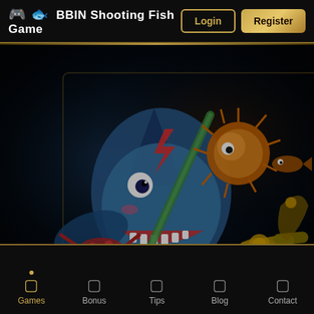🎮 🐟 BBIN Shooting Fish Game  Login  Register
[Figure (illustration): BBIN Shooting Fish Game promotional banner showing a cartoon shark character with a spear/lance, a pufferfish/sea urchin, crabs, and a cannon with coins on a dark underwater background]
Live Chat
Games  Bonus  Tips  Blog  Contact